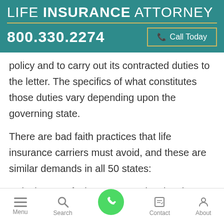LIFE INSURANCE ATTORNEY
800.330.2274
Call Today
policy and to carry out its contracted duties to the letter. The specifics of what constitutes those duties vary depending upon the governing state.
There are bad faith practices that life insurance carriers must avoid, and these are similar demands in all 50 states:
Delaying or refusing a payout despite clear liability
Menu  Search  Contact  About